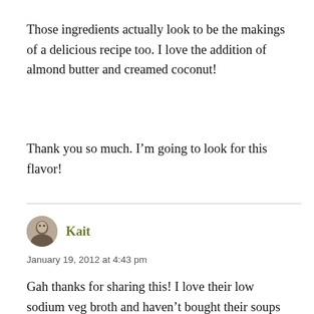Those ingredients actually look to be the makings of a delicious recipe too. I love the addition of almond butter and creamed coconut!
Thank you so much. I’m going to look for this flavor!
Kait
January 19, 2012 at 4:43 pm
Gah thanks for sharing this! I love their low sodium veg broth and haven’t bought their soups in a while. I think I’m going to write to